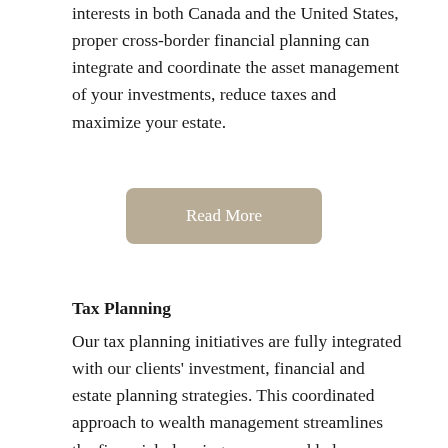interests in both Canada and the United States, proper cross-border financial planning can integrate and coordinate the asset management of your investments, reduce taxes and maximize your estate.
[Figure (other): A rounded rectangle button with tan/beige background color containing the text 'Read More' in white]
Tax Planning
Our tax planning initiatives are fully integrated with our clients' investment, financial and estate planning strategies. This coordinated approach to wealth management streamlines the financial planning process and helps our clients ensure lasting wealth for today, tomorrow and generations to come.